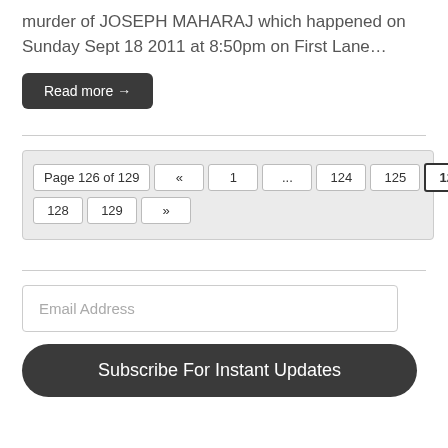murder of JOSEPH MAHARAJ which happened on Sunday Sept 18 2011 at 8:50pm on First Lane…
Read more →
Page 126 of 129  «  1  ...  124  125  126  127  128  129  »
Email Address
Subscribe For Instant Updates